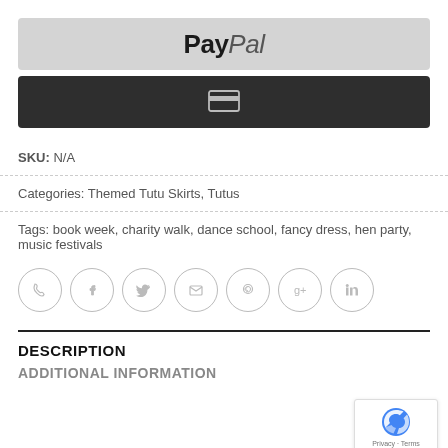[Figure (logo): PayPal payment button with grey background]
[Figure (other): Dark card payment button with credit card icon]
SKU: N/A
Categories: Themed Tutu Skirts, Tutus
Tags: book week, charity walk, dance school, fancy dress, hen party, music festivals
[Figure (other): Social sharing icons: phone, facebook, twitter, email, pinterest, google+, linkedin]
DESCRIPTION
ADDITIONAL INFORMATION